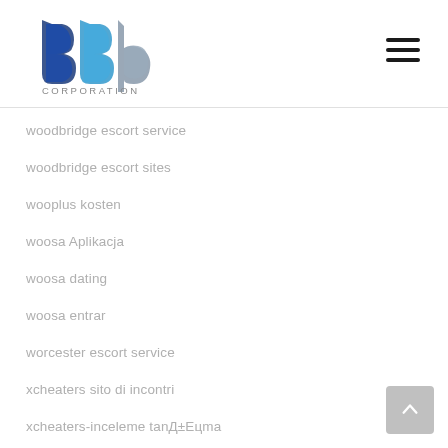[Figure (logo): BBP Corporation logo with blue and grey lettering and CORPORATION text below]
woodbridge escort service
woodbridge escort sites
wooplus kosten
woosa Aplikacja
woosa dating
woosa entrar
worcester escort service
xcheaters sito di incontri
xcheaters-inceleme tanД±Eцma